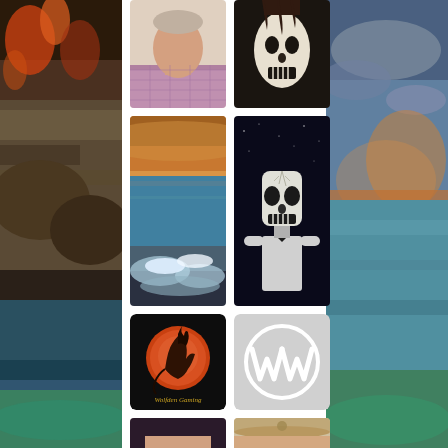[Figure (photo): Left side strip showing rocky coastline with fire/embers at top and ocean/sea scene at bottom]
[Figure (photo): Portrait photo of a man in a pink/purple checked shirt, partially visible]
[Figure (photo): Creepy white skull/ghost character with dripping dark liquid, horror themed]
[Figure (photo): Ocean/sea sunset photo with waves crashing on rocky shore]
[Figure (illustration): Animated skeleton character wearing a white suit with bow tie, dressed as Manuel from Grim Fandango, black starry background]
[Figure (logo): Wolfden Gaming logo - wolf howling at orange/red full moon on dark background with golden text 'Wolfden Gaming']
[Figure (logo): WordPress logo - white W in circle on light gray background]
[Figure (photo): Partial portrait of a woman with dark/purple hair, bottom portion of image]
[Figure (photo): Partial photo of a person wearing a hat with emblem, bottom portion of image]
[Figure (photo): Right side strip showing ocean/sea scene with dramatic cloudy sky and sunset]